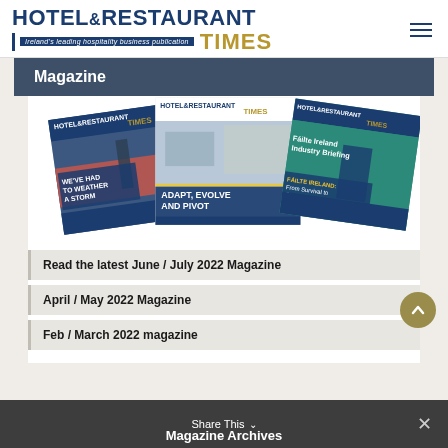[Figure (logo): Hotel & Restaurant Times logo with tagline 'Ireland's leading hospitality business publication']
Magazine
[Figure (photo): Three overlapping Hotel & Restaurant Times magazine covers. Left cover: 'WE'VE HAD TO WEATHER A STORM'. Center cover: 'ADAPT, EVOLVE AND PIVOT'. Right cover: 'Fáilte Ireland Industry Briefing - FÁILTE IRELAND: From Survival to Recovery'.]
Read the latest June / July 2022 Magazine
April / May 2022 Magazine
Feb / March 2022 magazine
Share This
Magazine Archives